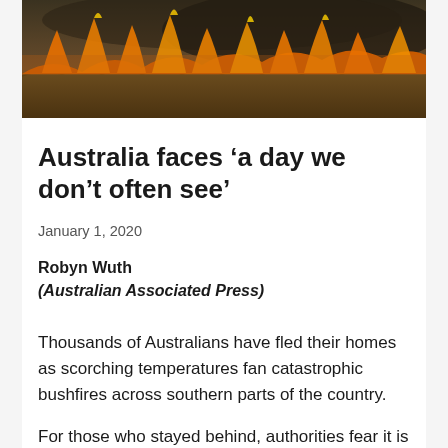[Figure (photo): Aerial or ground-level photograph of a large bushfire burning across dry grassland, with vivid orange and yellow flames and dark smoke rising into the sky.]
Australia faces 'a day we don't often see'
January 1, 2020
Robyn Wuth
(Australian Associated Press)
Thousands of Australians have fled their homes as scorching temperatures fan catastrophic bushfires across southern parts of the country.
For those who stayed behind, authorities fear it is now too late to leave parts of Victoria as firefighters brace for blistering winds to batter the